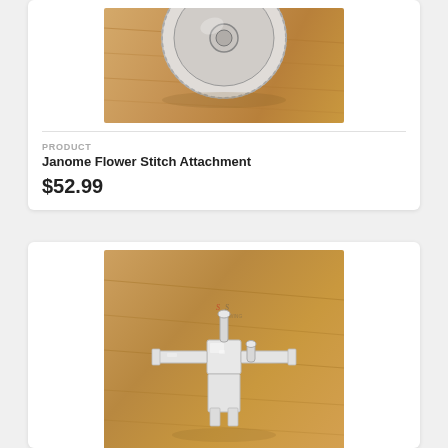[Figure (photo): Close-up photo of a sewing machine attachment (Janome Flower Stitch Attachment) on a wooden surface, showing the circular/disc part of the attachment from above.]
PRODUCT
Janome Flower Stitch Attachment
$52.99
[Figure (photo): Photo of a Janome Flower Stitch Attachment cross-shaped metal presser foot on a wooden surface, with a small watermark logo visible in the upper center.]